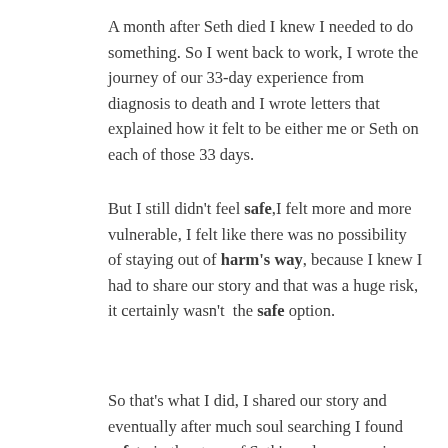A month after Seth died I knew I needed to do something. So I went back to work, I wrote the journey of our 33-day experience from diagnosis to death and I wrote letters that explained how it felt to be either me or Seth on each of those 33 days.
But I still didn't feel safe, I felt more and more vulnerable, I felt like there was no possibility of staying out of harm's way, because I knew I had to share our story and that was a huge risk, it certainly wasn't the safe option.
So that's what I did, I shared our story and eventually after much soul searching I found safety in the story of Seth's and my experience, I found safety in the memory of the love that we experienced as soul mates.
Our story became Homeward Bound. Our story has been life-affirming for me. I found safety in the